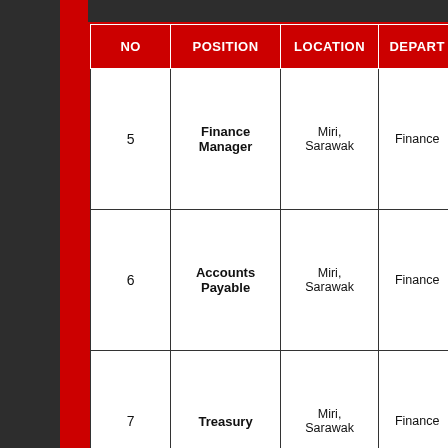| NO | POSITION | LOCATION | DEPART… |
| --- | --- | --- | --- |
| 5 | Finance Manager | Miri, Sarawak | Finance |
| 6 | Accounts Payable | Miri, Sarawak | Finance |
| 7 | Treasury | Miri, Sarawak | Finance |